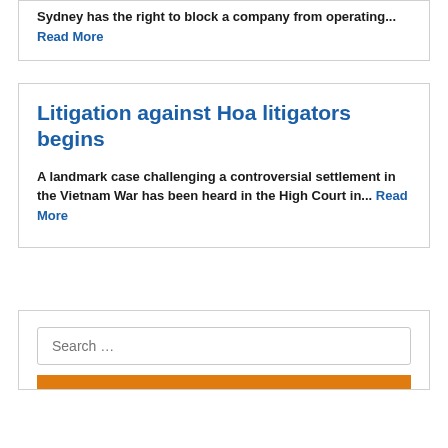Sydney has the right to block a company from operating... Read More
Litigation against Hoa litigators begins
A landmark case challenging a controversial settlement in the Vietnam War has been heard in the High Court in... Read More
Search …